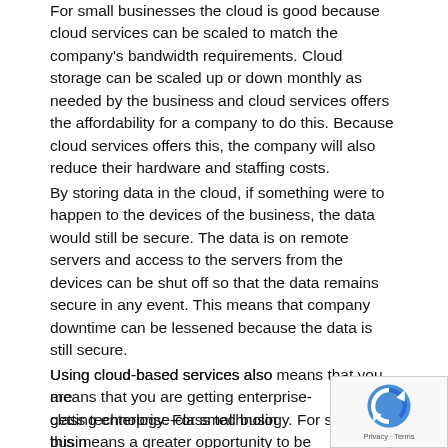For small businesses the cloud is good because cloud services can be scaled to match the company's bandwidth requirements. Cloud storage can be scaled up or down monthly as needed by the business and cloud services offers the affordability for a company to do this. Because cloud services offers this, the company will also reduce their hardware and staffing costs.
By storing data in the cloud, if something were to happen to the devices of the business, the data would still be secure. The data is on remote servers and access to the servers from the devices can be shut off so that the data remains secure in any event. This means that company downtime can be lessened because the data is still secure.
Using cloud-based services also means that you are getting enterprise-class technology. For small businesses this means a greater opportunity to be competitive and compete with the bigger entities. The software and